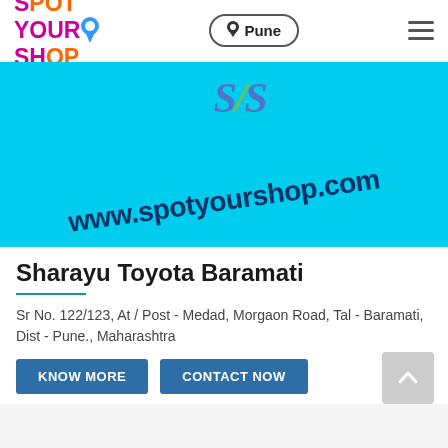[Figure (logo): SpotYourShop logo with colorful text and location pin icon]
Pune
[Figure (screenshot): Cyan/turquoise banner showing www.spotyourshop.com text diagonally with SYS watermark]
Sharayu Toyota Baramati
Sr No. 122/123, At / Post - Medad, Morgaon Road, Tal - Baramati, Dist - Pune., Maharashtra
KNOW MORE
CONTACT NOW